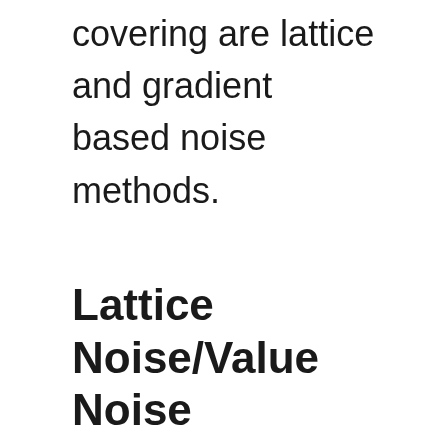covering are lattice and gradient based noise methods.
Lattice Noise/Value Noise
There is a little bit of confusion in the procedural world with what is a value based noise and what is gradient. This is demonstrated by